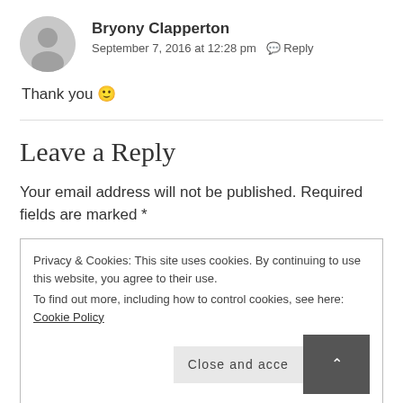[Figure (illustration): Gray circular avatar/profile placeholder icon]
Bryony Clapperton
September 7, 2016 at 12:28 pm  Reply
Thank you 🙂
Leave a Reply
Your email address will not be published. Required fields are marked *
Privacy & Cookies: This site uses cookies. By continuing to use this website, you agree to their use.
To find out more, including how to control cookies, see here: Cookie Policy
Close and accept